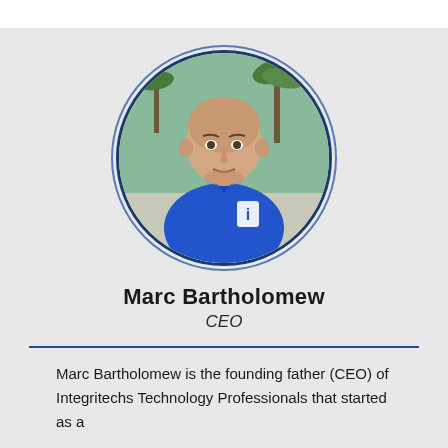[Figure (photo): Circular headshot photo of Marc Bartholomew, a bald man wearing a blue polo shirt with a logo, standing outdoors with palm trees in the background.]
Marc Bartholomew
CEO
Marc Bartholomew is the founding father (CEO) of Integritechs Technology Professionals that started as a